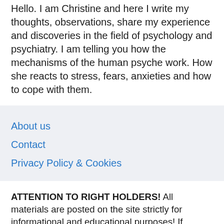Hello. I am Christine and here I write my thoughts, observations, share my experience and discoveries in the field of psychology and psychiatry. I am telling you how the mechanisms of the human psyche work. How she reacts to stress, fears, anxieties and how to cope with them.
About us
Contact
Privacy Policy & Cookies
ATTENTION TO RIGHT HOLDERS! All materials are posted on the site strictly for informational and educational purposes! If